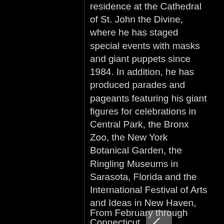residence at the Cathedral of St. John the Divine, where he has staged special events with masks and giant puppets since 1984. In addition, he has produced parades and pageants featuring his giant figures for celebrations in Central Park, the Bronx Zoo, the New York Botanical Garden, the Ringling Museums in Sarasota, Florida and the International Festival of Arts and Ideas in New Haven, Connecticut.
From February through